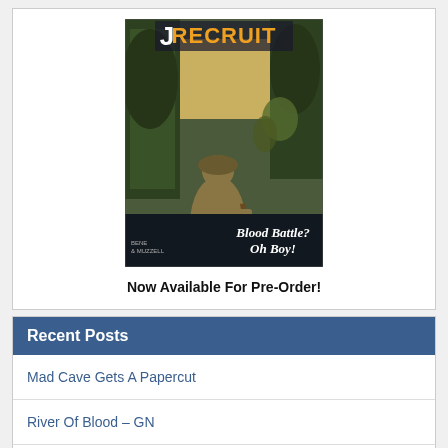[Figure (illustration): Comic book cover showing a WWII soldier in khaki uniform carrying a rifle in a jungle/forest setting. Title text reads 'RECRUIT' at the top in large letters with 'J' visible. Text 'Blood Battle? Oh Boy!' appears at the bottom right. Creator credits 'BENE & MUZZELL' at bottom left.]
Now Available For Pre-Order!
Recent Posts
Mad Cave Gets A Papercut
River Of Blood – GN
Amputation Capital #1